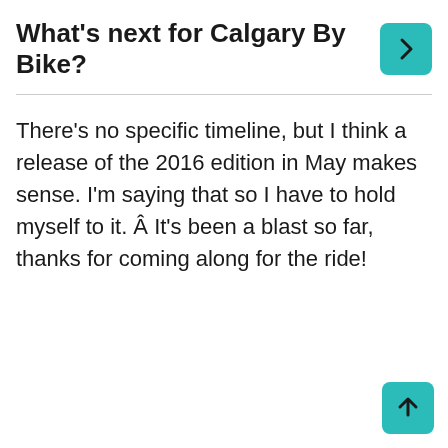What’s next for Calgary By Bike?
There’s no specific timeline, but I think a release of the 2016 edition in May makes sense. I’m saying that so I have to hold myself to it. Â It’s been a blast so far, thanks for coming along for the ride!